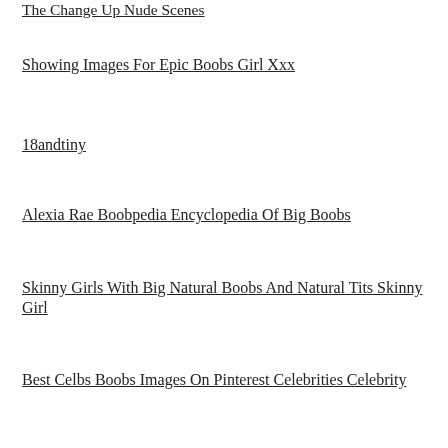The Change Up Nude Scenes
Showing Images For Epic Boobs Girl Xxx
18andtiny
Alexia Rae Boobpedia Encyclopedia Of Big Boobs
Skinny Girls With Big Natural Boobs And Natural Tits Skinny Girl
Best Celbs Boobs Images On Pinterest Celebrities Celebrity